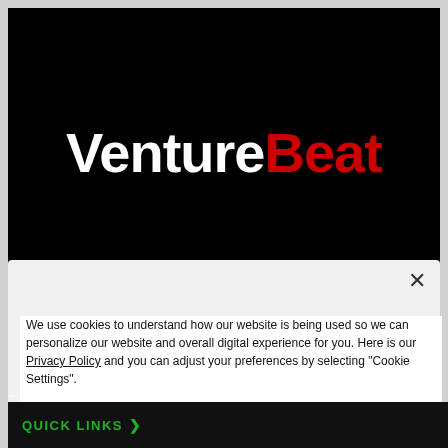[Figure (logo): VentureBeat logo on black background. 'Venture' in white bold text, 'Beat' in red bold text.]
We use cookies to understand how our website is being used so we can personalize our website and overall digital experience for you. Here is our Privacy Policy and you can adjust your preferences by selecting "Cookie Settings".
Cookies Settings
Accept
The leader in identity unification, the foundation for an identity data Fa...
QUICK LINKS >